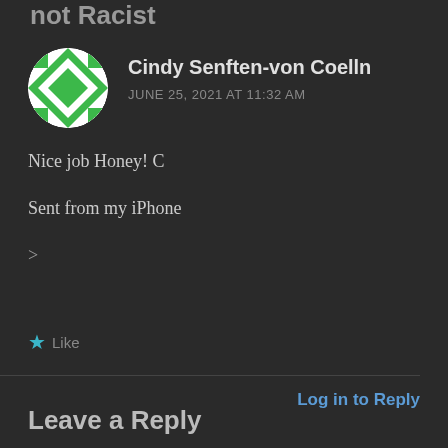not Racist
Cindy Senften-von Coelln
JUNE 25, 2021 AT 11:32 AM
Nice job Honey! C
Sent from my iPhone
>
★ Like
Log in to Reply
Leave a Reply